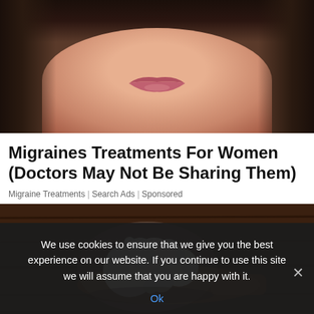[Figure (photo): Close-up photo of a woman's face, showing lower half with lips and dark curly hair, neutral expression, brown/warm tones]
Migraines Treatments For Women (Doctors May Not Be Sharing Them)
Migraine Treatments | Search Ads | Sponsored
[Figure (photo): Photo of white cauliflower or kefir grains on a wooden spoon, set against a dark wooden background]
We use cookies to ensure that we give you the best experience on our website. If you continue to use this site we will assume that you are happy with it.
Ok